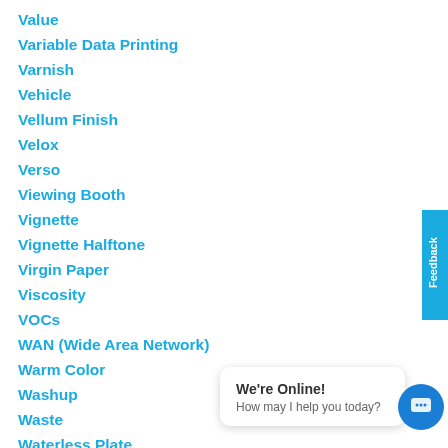Value
Variable Data Printing
Varnish
Vehicle
Vellum Finish
Velox
Verso
Viewing Booth
Vignette
Vignette Halftone
Virgin Paper
Viscosity
VOCs
WAN (Wide Area Network)
Warm Color
Washup
Waste
Waterless Plate
Waterless Printing